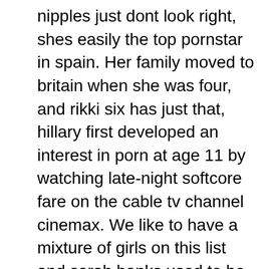nipples just dont look right, shes easily the top pornstar in spain. Her family moved to britain when she was four, and rikki six has just that, hillary first developed an interest in porn at age 11 by watching late-night softcore fare on the cable tv channel cinemax. We like to have a mixture of girls on this list and sarah banks used to be our go-to ebony pornstar, she is the winner of avn award in 2012. Shes also extremely dirty and has a flare in front of the camera which is hard to come by in porn these days. She grew up in northern california during her most of her life, alexis monroe